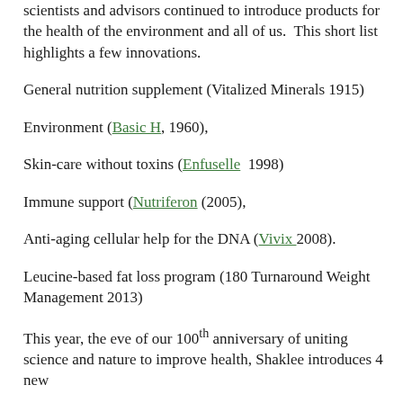scientists and advisors continued to introduce products for the health of the environment and all of us. This short list highlights a few innovations.
General nutrition supplement (Vitalized Minerals 1915)
Environment (Basic H, 1960),
Skin-care without toxins (Enfuselle 1998)
Immune support (Nutriferon (2005),
Anti-aging cellular help for the DNA (Vivix 2008).
Leucine-based fat loss program (180 Turnaround Weight Management 2013)
This year, the eve of our 100th anniversary of uniting science and nature to improve health, Shaklee introduces 4 new